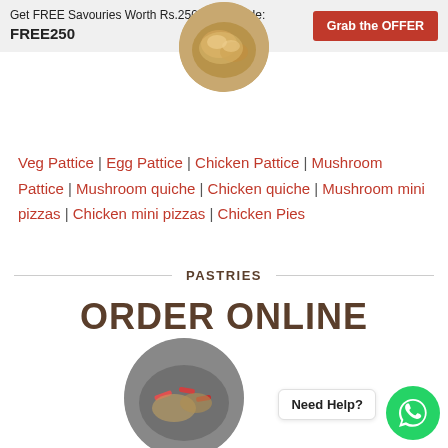Get FREE Savouries Worth Rs.250/- Use Code: FREE250
[Figure (photo): Circular food image showing baked savouries in a bowl, top center of page]
Veg Pattice | Egg Pattice | Chicken Pattice | Mushroom Pattice | Mushroom quiche | Chicken quiche | Mushroom mini pizzas | Chicken mini pizzas | Chicken Pies
PASTRIES
ORDER ONLINE
[Figure (photo): Circular food image showing pastries/pies with vegetables at the bottom of the page]
Need Help?